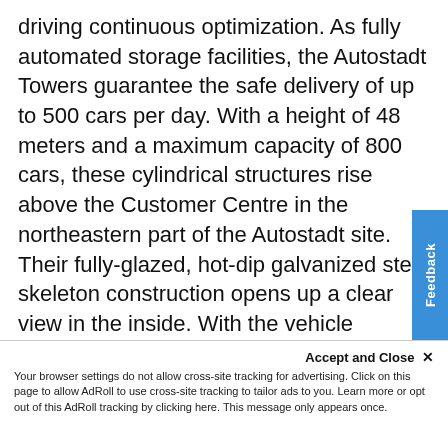driving continuous optimization. As fully automated storage facilities, the Autostadt Towers guarantee the safe delivery of up to 500 cars per day. With a height of 48 meters and a maximum capacity of 800 cars, these cylindrical structures rise above the Customer Centre in the northeastern part of the Autostadt site. Their fully-glazed, hot-dip galvanized steel skeleton construction opens up a clear view in the inside. With the vehicle storage constantly full, it was challenging to ensure the right level of humidity for optimal temperature and full window visibility – no matter the season and the temperature's impact on the cars stored inside. The
Accept and Close ✕
Your browser settings do not allow cross-site tracking for advertising. Click on this page to allow AdRoll to use cross-site tracking to tailor ads to you. Learn more or opt out of this AdRoll tracking by clicking here. This message only appears once.